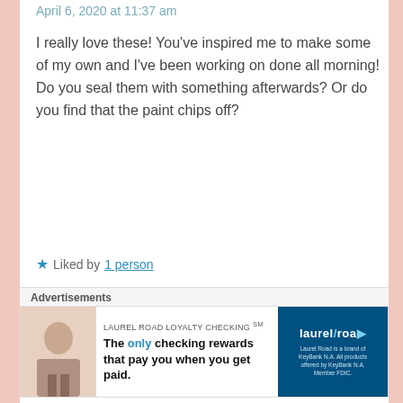April 6, 2020 at 11:37 am
I really love these! You've inspired me to make some of my own and I've been working on done all morning! Do you seal them with something afterwards? Or do you find that the paint chips off?
★ Liked by 1 person
Reply →
RIE
April 6, 2020 at 11:49 am
Advertisements
LAUREL ROAD LOYALTY CHECKING ℠ The only checking rewards that pay you when you get paid.